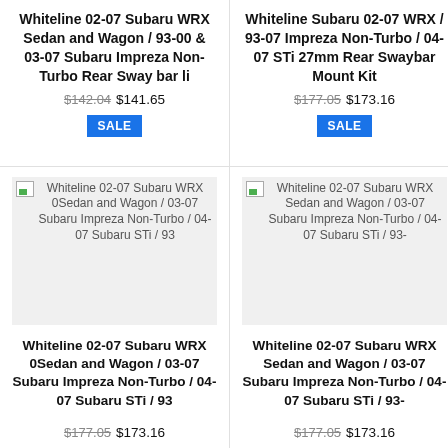Whiteline 02-07 Subaru WRX Sedan and Wagon / 93-00 & 03-07 Subaru Impreza Non-Turbo Rear Sway bar li
$142.04 $141.65
[Figure (other): SALE badge]
Whiteline Subaru 02-07 WRX / 93-07 Impreza Non-Turbo / 04-07 STi 27mm Rear Swaybar Mount Kit
$177.05 $173.16
[Figure (other): SALE badge]
[Figure (photo): Whiteline 02-07 Subaru WRX 0Sedan and Wagon / 03-07 Subaru Impreza Non-Turbo / 04-07 Subaru STi / 93 product image placeholder]
Whiteline 02-07 Subaru WRX 0Sedan and Wagon / 03-07 Subaru Impreza Non-Turbo / 04-07 Subaru STi / 93
$177.05 $173.16
[Figure (photo): Whiteline 02-07 Subaru WRX Sedan and Wagon / 03-07 Subaru Impreza Non-Turbo / 04-07 Subaru STi / 93- product image placeholder]
Whiteline 02-07 Subaru WRX Sedan and Wagon / 03-07 Subaru Impreza Non-Turbo / 04-07 Subaru STi / 93-
$177.05 $173.16